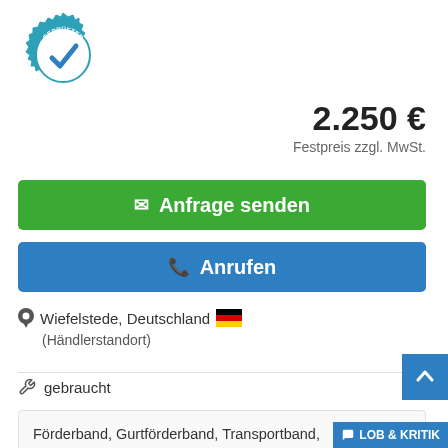[Figure (logo): Geprüfter Händler badge - teal gear icon with checkmark and text GEPRÜFTER HÄNDLER]
2.250 €
Festpreis zzgl. MwSt.
✉ Anfrage senden
📞 Anrufen
Wiefelstede, Deutschland 🇩🇪
(Händlerstandort)
gebraucht
Förderband, Gurtförderband, Transportband, Gurtbandförderer -Förderband mit kleiner Mulde - Förderband kann pneumatisch seitlich in beide Richtungen gekippt werden -Antriebsmotor: 0,37 kW 93 U/min ...